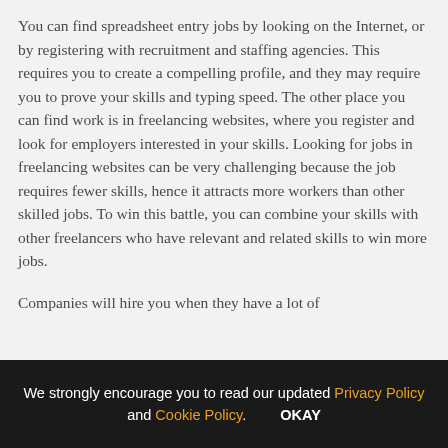You can find spreadsheet entry jobs by looking on the Internet, or by registering with recruitment and staffing agencies. This requires you to create a compelling profile, and they may require you to prove your skills and typing speed. The other place you can find work is in freelancing websites, where you register and look for employers interested in your skills. Looking for jobs in freelancing websites can be very challenging because the job requires fewer skills, hence it attracts more workers than other skilled jobs. To win this battle, you can combine your skills with other freelancers who have relevant and related skills to win more jobs.
Companies will hire you when they have a lot of
We strongly encourage you to read our updated Privacy Policy and Cookie Policy. OKAY